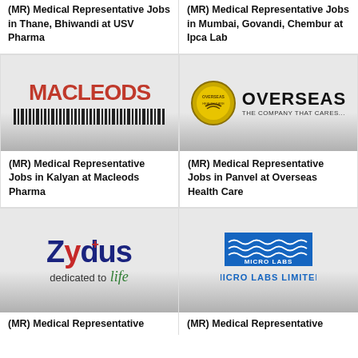(MR) Medical Representative Jobs in Thane, Bhiwandi at USV Pharma
(MR) Medical Representative Jobs in Mumbai, Govandi, Chembur at Ipca Lab
[Figure (logo): Macleods Pharma logo - red bold text MACLEODS with barcode-style stripes below]
(MR) Medical Representative Jobs in Kalyan at Macleods Pharma
[Figure (logo): Overseas Health Care logo - gold circular emblem with hands and text OVERSEAS THE COMPANY THAT CARES...]
(MR) Medical Representative Jobs in Panvel at Overseas Health Care
[Figure (logo): Zydus dedicated to life logo - blue and red text with cross symbol and green italic life]
(MR) Medical Representative
[Figure (logo): Micro Labs Limited logo - blue rectangle with wave lines and company name]
(MR) Medical Representative